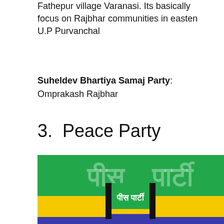Fathepur village Varanasi. Its basically focus on Rajbhar communities in easten U.P Purvanchal
Suheldev Bhartiya Samaj Party: Omprakash Rajbhar
3.  Peace Party
[Figure (illustration): Peace Party logo image showing a green and yellow flag with Hindi text 'पीस पार्टी' on a banner in the center, with black borders on the sides. The flag has green on top and yellow below with a thin blue stripe.]